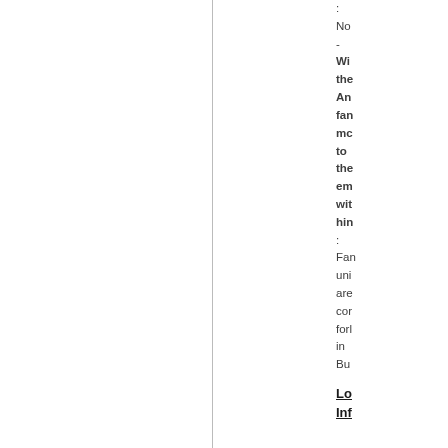: No - With the Annual family more to the employees within himself: Family units are considered for in Business
Lo In